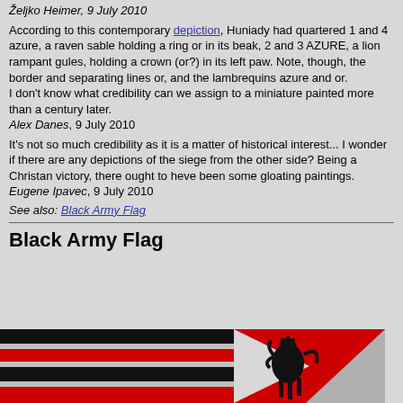Željko Heimer, 9 July 2010
According to this contemporary depiction, Huniady had quartered 1 and 4 azure, a raven sable holding a ring or in its beak, 2 and 3 AZURE, a lion rampant gules, holding a crown (or?) in its left paw. Note, though, the border and separating lines or, and the lambrequins azure and or.
I don't know what credibility can we assign to a miniature painted more than a century later.
Alex Danes, 9 July 2010
It's not so much credibility as it is a matter of historical interest... I wonder if there are any depictions of the siege from the other side? Being a Christan victory, there ought to heve been some gloating paintings.
Eugene Ipavec, 9 July 2010
See also: Black Army Flag
Black Army Flag
[Figure (illustration): Partial view of the Black Army Flag showing horizontal black and red stripes on the left and a triangular red/grey section on the right, with a black heraldic lion figure visible in the center.]